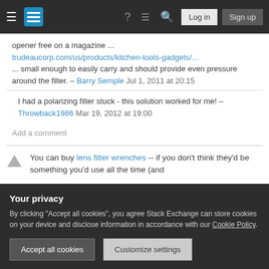Stack Exchange navigation bar with Log in and Sign up buttons
opener free on a magazine ... trudeaucorp.com/us/products/kitchen-tools-gadgets/... ... small enough to easily carry and should provide even pressure around the filter. – Barry Semple Jul 1, 2011 at 20:15
I had a polarizing filter stuck - this solution worked for me! – Throwback1986 Mar 19, 2012 at 19:00
Add a comment
You can buy lens filter wrenches -- if you don't think they'd be something you'd use all the time (and
Your privacy
By clicking "Accept all cookies", you agree Stack Exchange can store cookies on your device and disclose information in accordance with our Cookie Policy.
Accept all cookies  Customize settings